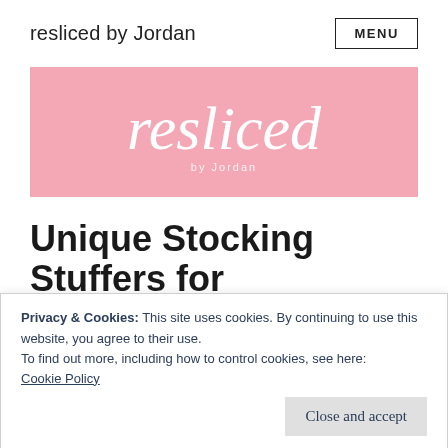resliced by Jordan   MENU
[Figure (logo): Pink banner with cursive white text 'resliced' and subtitle 'by Jordan']
Unique Stocking Stuffers for
Privacy & Cookies: This site uses cookies. By continuing to use this website, you agree to their use.
To find out more, including how to control cookies, see here:
Cookie Policy
Close and accept